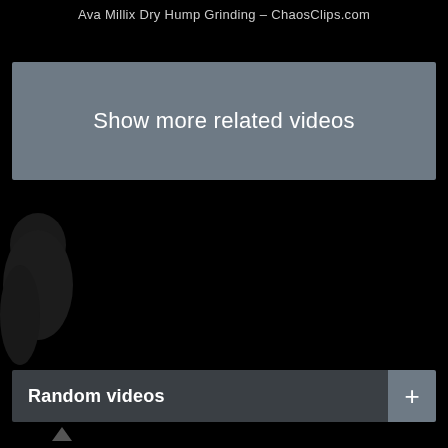Ava Millix Dry Hump Grinding – ChaosClips.com
Show more related videos
[Figure (photo): Dark screenshot of a video page with a partially visible silhouette on the left side against a black background]
Random videos
+